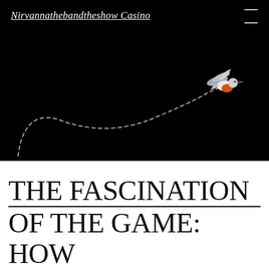Nirvannathebandtheshow Casino
[Figure (illustration): A small colorful bird (robin/hummingbird with orange breast) in flight against a solid black background, with a dashed curved white line tracing its flight path through the dark scene.]
THE FASCINATION OF THE GAME: HOW RANDOM IS